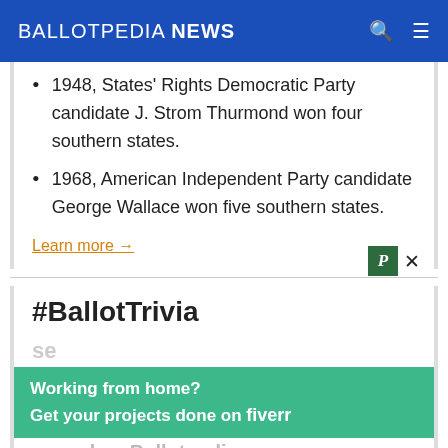BALLOTPEDIA NEWS
1948, States' Rights Democratic Party candidate J. Strom Thurmond won four southern states.
1968, American Independent Party candidate George Wallace won five southern states.
Learn more →
#BallotTrivia
[Figure (screenshot): Fiverr advertisement overlay: 'Working from home? Get your projects done on fiverr' in white text on green background, with a Publitas P-icon and X close button visible.]
races has Ballotpedia